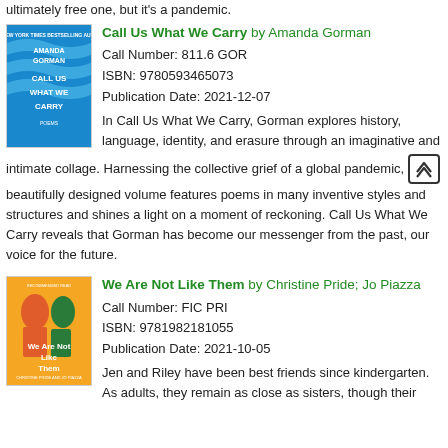ultimately free one, but it's a pandemic.
[Figure (illustration): Book cover: Call Us What We Carry by Amanda Gorman, blue cover with white wave-like text]
Call Us What We Carry by Amanda Gorman
Call Number: 811.6 GOR
ISBN: 9780593465073
Publication Date: 2021-12-07
In Call Us What We Carry, Gorman explores history, language, identity, and erasure through an imaginative and intimate collage. Harnessing the collective grief of a global pandemic, this beautifully designed volume features poems in many inventive styles and structures and shines a light on a moment of reckoning. Call Us What We Carry reveals that Gorman has become our messenger from the past, our voice for the future.
[Figure (illustration): Book cover: We Are Not Like Them by Christine Pride and Jo Piazza, colorful cover with silhouettes]
We Are Not Like Them by Christine Pride; Jo Piazza
Call Number: FIC PRI
ISBN: 9781982181055
Publication Date: 2021-10-05
Jen and Riley have been best friends since kindergarten. As adults, they remain as close as sisters, though their